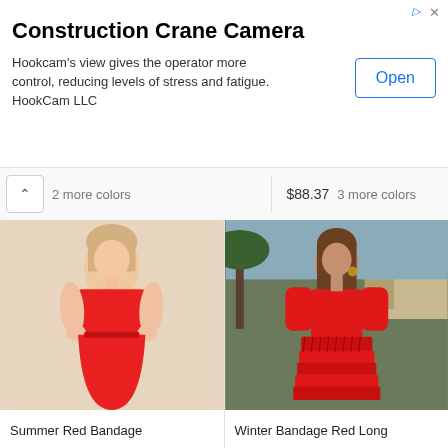[Figure (screenshot): Advertisement banner for Construction Crane Camera app by HookCam LLC with an Open button]
Construction Crane Camera
Hookcam's view gives the operator more control, reducing levels of stress and fatigue. HookCam LLC
$88.37  3 more colors
2 more colors
[Figure (photo): Woman wearing a short strapless red bandage dress posing with hands on hips against a light beige background]
Summer Red Bandage
[Figure (photo): Woman wearing a red long sleeve tiered fringe bandage dress, smiling, outdoors with palm trees and buildings in background]
Winter Bandage Red Long